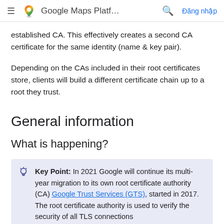Google Maps Platf…  Đăng nhập
established CA. This effectively creates a second CA certificate for the same identity (name & key pair).
Depending on the CAs included in their root certificates store, clients will build a different certificate chain up to a root they trust.
General information
What is happening?
Key Point: In 2021 Google will continue its multi-year migration to its own root certificate authority (CA) Google Trust Services (GTS), started in 2017. The root certificate authority is used to verify the security of all TLS connections